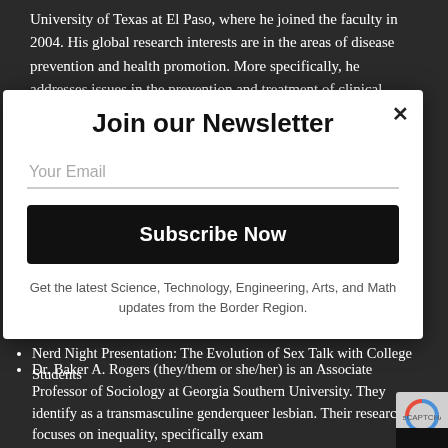University of Texas at El Paso, where he joined the faculty in 2004. His global research interests are in the areas of disease prevention and health promotion. More specifically, he addresses issues in the prevention and treatment of clinical health including: tobacco use and cessation, other
Join our Newsletter
Your Email
Subscribe Now
Get the latest Science, Technology, Engineering, Arts, and Math updates from the Border Region.
Nerd Night Presentation: The Evolution of Sex Talk with College Students
Dr. Baker A. Rogers (they/them or she/her) is an Associate Professor of Sociology at Georgia Southern University. They identify as a transmasculine genderqueer lesbian. Their research focuses on inequality, specifically exam